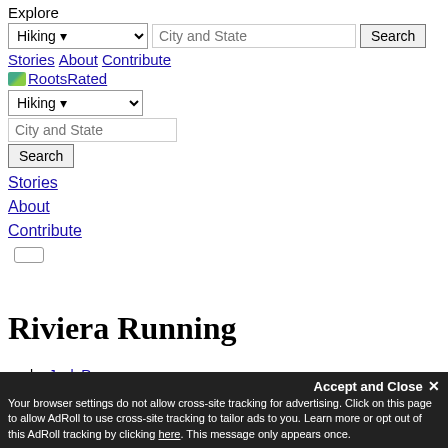Explore
Hiking [dropdown] | City and State [input] | Search [button]
Stories About Contribute
[Figure (logo): RootsRated logo image with green leaf icon]
Hiking [dropdown]
City and State [input]
Search [button]
Stories
About
Contribute
Riviera Running
by Jack Rogan
Santa Barbara, CA
February 18, 2016
Share on Facebook Tweet on Twitter Send via Email
Accept and Close ✕ Your browser settings do not allow cross-site tracking for advertising. Click on this page to allow AdRoll to use cross-site tracking to tailor ads to you. Learn more or opt out of this AdRoll tracking by clicking here. This message only appears once.